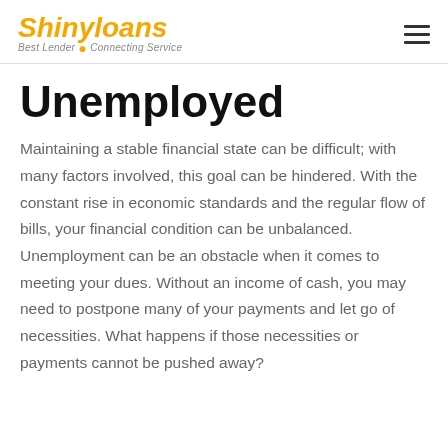Shinyloans — Best Lender · Connecting Service
Unemployed
Maintaining a stable financial state can be difficult; with many factors involved, this goal can be hindered. With the constant rise in economic standards and the regular flow of bills, your financial condition can be unbalanced. Unemployment can be an obstacle when it comes to meeting your dues. Without an income of cash, you may need to postpone many of your payments and let go of necessities. What happens if those necessities or payments cannot be pushed away?